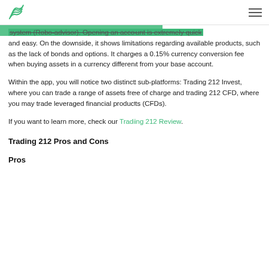[Logo] [Hamburger menu]
system (Robo-advisor). Opening an account is extremely quick and easy. On the downside, it shows limitations regarding available products, such as the lack of bonds and options. It charges a 0.15% currency conversion fee when buying assets in a currency different from your base account.
Within the app, you will notice two distinct sub-platforms: Trading 212 Invest, where you can trade a range of assets free of charge and trading 212 CFD, where you may trade leveraged financial products (CFDs).
If you want to learn more, check our Trading 212 Review.
Trading 212 Pros and Cons
Pros